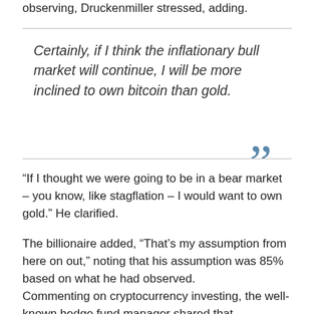observing, Druckenmiller stressed, adding.
Certainly, if I think the inflationary bull market will continue, I will be more inclined to own bitcoin than gold.
“If I thought we were going to be in a bear market – you know, like stagflation – I would want to own gold.” He clarified.
The billionaire added, “That’s my assumption from here on out,” noting that his assumption was 85% based on what he had observed.
Commenting on cryptocurrency investing, the well-known hedge fund manager shared that